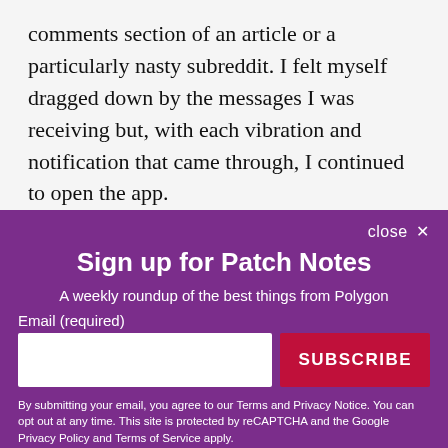comments section of an article or a particularly nasty subreddit. I felt myself dragged down by the messages I was receiving but, with each vibration and notification that came through, I continued to open the app.
Reading the texts would alter my mood, but not
[Figure (screenshot): Modal overlay on a purple background prompting the user to sign up for Patch Notes, a weekly roundup from Polygon. Contains email input field, SUBSCRIBE button, and disclaimer text. Has a close X button in the top right.]